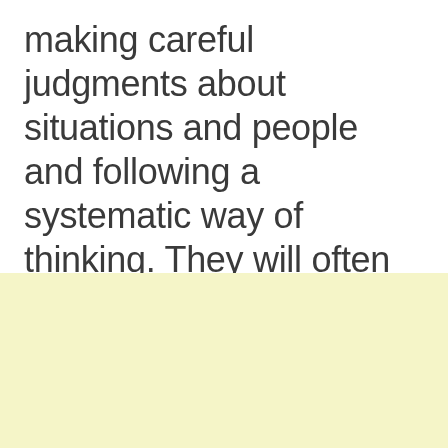making careful judgments about situations and people and following a systematic way of thinking. They will often have a particular routine, schedule day-to-day activities, and use a list to keep them on track. Once they have met their deadlines and responsibilities, they can relax.